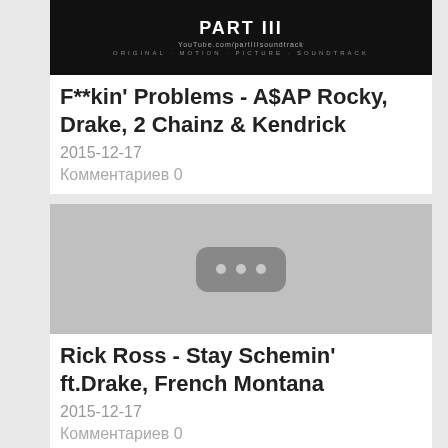[Figure (photo): Movie soundtrack thumbnail - Part III, dark background with text]
F**kin' Problems - A$AP Rocky, Drake, 2 Chainz & Kendrick
2015-12-17
Комментариев 0
[Figure (photo): Grey placeholder thumbnail with three dots icon]
Rick Ross - Stay Schemin' ft.Drake, French Montana
2015-12-17
Комментариев 0
[Figure (photo): Dark thumbnail with green/gold element at bottom]